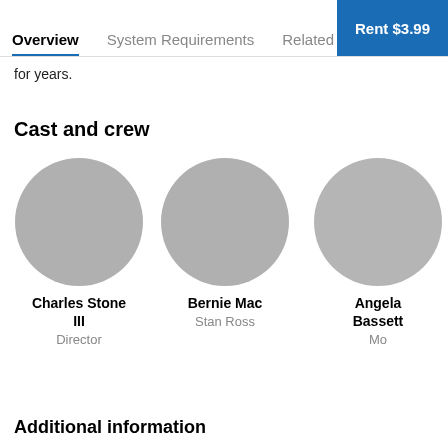Rent $3.99 | Overview | System Requirements | Related
for years.
Cast and crew
[Figure (illustration): Circular placeholder avatar for Charles Stone III, Director]
Charles Stone III
Director
[Figure (illustration): Circular placeholder avatar for Bernie Mac, Stan Ross]
Bernie Mac
Stan Ross
[Figure (illustration): Circular placeholder avatar for Angela Bassett, Mo (partially cropped)]
Angela Bassett
Mo
Additional information